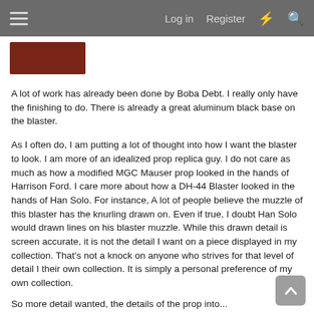Log in  Register
[Figure (photo): User avatar thumbnail, dark reddish-brown image]
A lot of work has already been done by Boba Debt. I really only have the finishing to do. There is already a great aluminum black base on the blaster.
As I often do, I am putting a lot of thought into how I want the blaster to look. I am more of an idealized prop replica guy. I do not care as much as how a modified MGC Mauser prop looked in the hands of Harrison Ford. I care more about how a DH-44 Blaster looked in the hands of Han Solo. For instance, A lot of people believe the muzzle of this blaster has the knurling drawn on. Even if true, I doubt Han Solo would drawn lines on his blaster muzzle. While this drawn detail is screen accurate, it is not the detail I want on a piece displayed in my collection. That's not a knock on anyone who strives for that level of detail I their own collection. It is simply a personal preference of my own collection.
So more detail wanted, the details of the prop into...